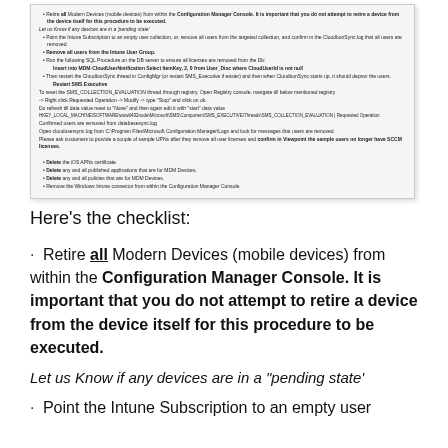[Figure (screenshot): Screenshot of a document page showing a checklist with instructions for retiring Modern Devices, removing users from Intune User Group, running SQL procedures, restarting CloudbonSync, registry operations, deleting iOS APNs certificate, deleting published applications and policies for MDM Devices, removing Windows Intune connector, and providing tenant info.]
Here’s the checklist:
Retire all Modern Devices (mobile devices) from within the Configuration Manager Console. It is important that you do not attempt to retire a device from the device itself for this procedure to be executed.
Let us Know if any devices are in a “pending state’
Point the Intune Subscription to an empty user